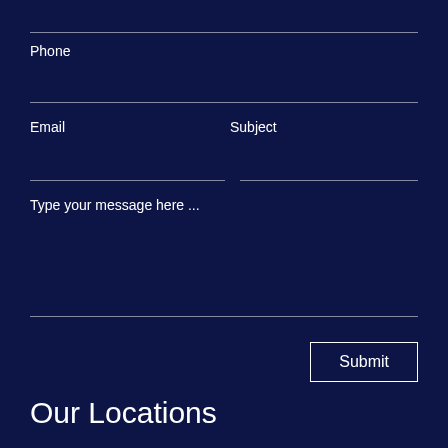Phone
Email
Subject
Type your message here ...
Submit
Our Locations